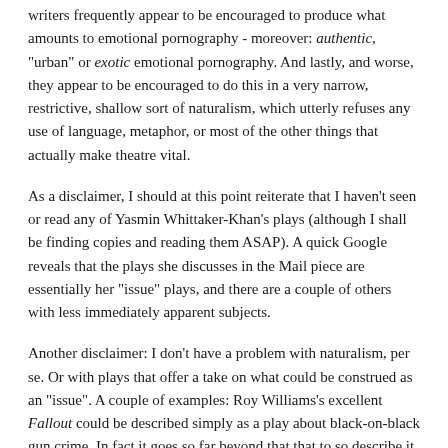writers frequently appear to be encouraged to produce what amounts to emotional pornography - moreover: authentic, "urban" or exotic emotional pornography. And lastly, and worse, they appear to be encouraged to do this in a very narrow, restrictive, shallow sort of naturalism, which utterly refuses any use of language, metaphor, or most of the other things that actually make theatre vital.
As a disclaimer, I should at this point reiterate that I haven't seen or read any of Yasmin Whittaker-Khan's plays (although I shall be finding copies and reading them ASAP). A quick Google reveals that the plays she discusses in the Mail piece are essentially her "issue" plays, and there are a couple of others with less immediately apparent subjects.
Another disclaimer: I don't have a problem with naturalism, per se. Or with plays that offer a take on what could be construed as an "issue". A couple of examples: Roy Williams's excellent Fallout could be described simply as a play about black-on-black gun crime. In fact it goes so far beyond that that to so describe it would be like calling Hamlet a play about Dane-on-Dane poisoning. Similarly, Duncan Macmillan's published oeuvre could be boiled down to being "a play about a suspected paedophile" and "a play about a disruptive pupil" - in both cases what is actually striking about the plays is Macmillan's deft gift for structure and form; the games that he plays with